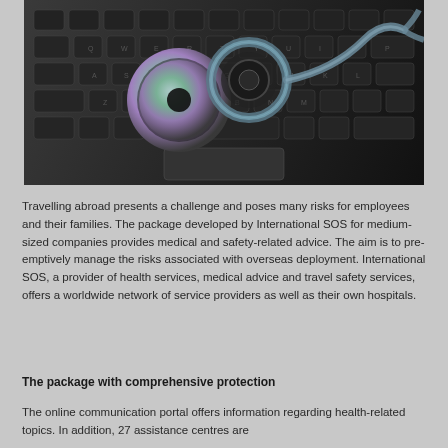[Figure (photo): A stethoscope resting on a laptop keyboard, symbolizing digital health or medical technology.]
Travelling abroad presents a challenge and poses many risks for employees and their families. The package developed by International SOS for medium-sized companies provides medical and safety-related advice. The aim is to pre-emptively manage the risks associated with overseas deployment. International SOS, a provider of health services, medical advice and travel safety services, offers a worldwide network of service providers as well as their own hospitals.
The package with comprehensive protection
The online communication portal offers information regarding health-related topics. In addition, 27 assistance centres are